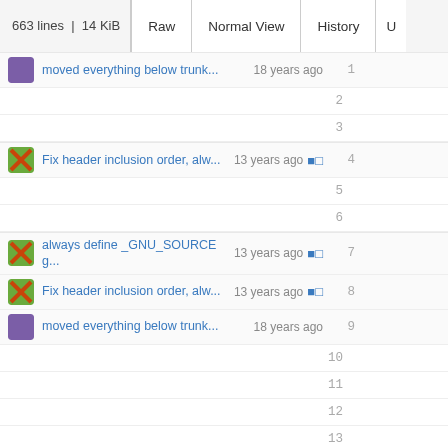663 lines | 14 KiB  Raw  Normal View  History  U
1  moved everything below trunk...  18 years ago
2
3
4  Fix header inclusion order, alw...  13 years ago
5
6
7  always define _GNU_SOURCE g...  13 years ago
8  Fix header inclusion order, alw...  13 years ago
9  moved everything below trunk...  18 years ago
10
11
12
13
14  Fix header inclusion order, alw...  13 years ago
15  moved everything below trunk...  18 years ago
16
17
18  Fix header inclusion order, alw...  13 years ago